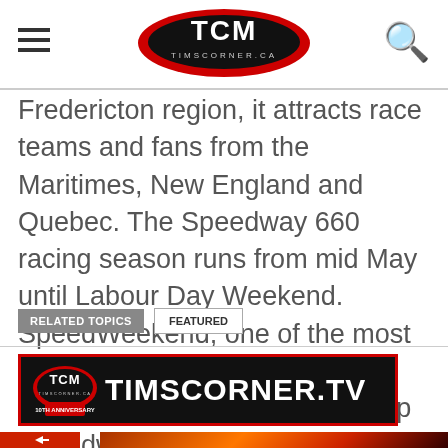TCM TIMSCORNER.CA
Fredericton region, it attracts race teams and fans from the Maritimes, New England and Quebec. The Speedway 660 racing season runs from mid May until Labour Day Weekend. SpeedWeekend, one of the most prestigious short track events in eastern North America, wraps up Speedway 660’s racing season.
RELATED TOPICS  FEATURED
[Figure (logo): TIMSCORNER.TV banner with TCM logo on dark background with red border]